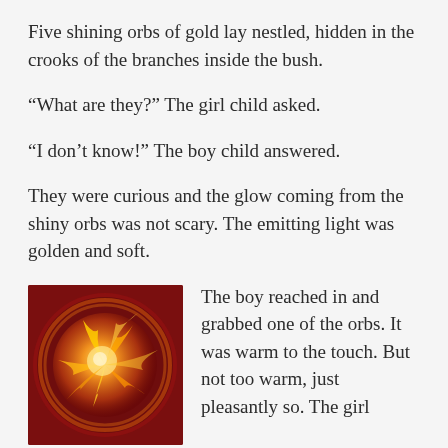Five shining orbs of gold lay nestled, hidden in the crooks of the branches inside the bush.
“What are they?” The girl child asked.
“I don’t know!” The boy child answered.
They were curious and the glow coming from the shiny orbs was not scary. The emitting light was golden and soft.
[Figure (illustration): A glowing golden orb with swirling flame-like patterns inside, set against a dark red circular background. The orb emits golden light with intricate fiery tendrils.]
The boy reached in and grabbed one of the orbs. It was warm to the touch. But not too warm, just pleasantly so. The girl seeing that the orb rested comfortably in the